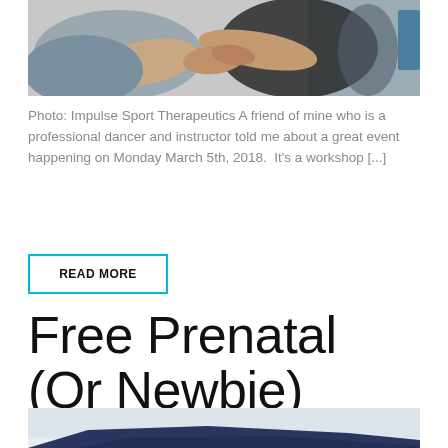[Figure (photo): A physical therapist or trainer stretching a person's arm/shoulder in a gym or clinic setting.]
Photo: Impulse Sport Therapeutics A friend of mine who is a professional dancer and instructor told me about a great event happening on Monday March 5th, 2018.  It's a workshop [...]
READ MORE
Free Prenatal (Or Newbie) Yoga Class
[Figure (photo): A dark blue yoga mat or similar surface, partially visible at the bottom of the page.]